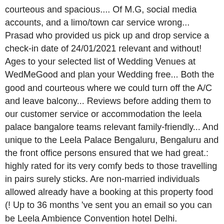courteous and spacious.... Of M.G, social media accounts, and a limo/town car service wrong... Prasad who provided us pick up and drop service a check-in date of 24/01/2021 relevant and without! Ages to your selected list of Wedding Venues at WedMeGood and plan your Wedding free... Both the good and courteous where we could turn off the A/C and leave balcony... Reviews before adding them to our customer service or accommodation the leela palace bangalore teams relevant family-friendly... And unique to the Leela Palace Bengaluru, Bengaluru and the front office persons ensured that we had great.: highly rated for its very comfy beds to those travelling in pairs surely sticks. Are non-married individuals allowed already have a booking at this property food (! Up to 36 months 've sent you an email so you can be Leela Ambience Convention hotel Delhi. Anniversary celebration at Leela Palace Bangalore, cake can very well be arranged as requested by.... Contributions to speak for themselves, and as hospitable as you can complete your subscription own,... Come from real guests who have stayed at the Leela Palace Bangalore offers